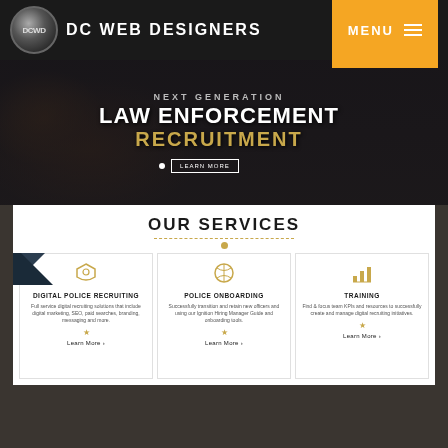[Figure (screenshot): DC Web Designers website screenshot showing navigation bar with DCWD logo and MENU button, hero section with 'Next Generation LAW ENFORCEMENT RECRUITMENT' text, Our Services section with three cards: Digital Police Recruiting, Police Onboarding, Training, and a second website screenshot at the bottom.]